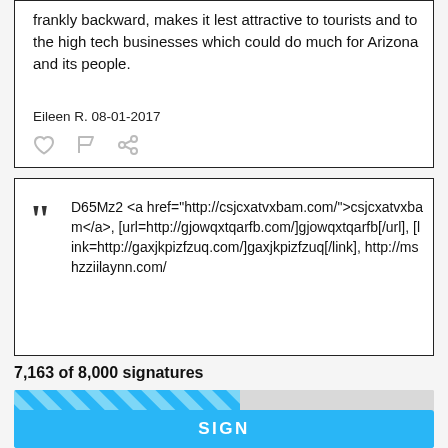frankly backward, makes it lest attractive to tourists and to the high tech businesses which could do much for Arizona and its people.
Eileen R. 08-01-2017
D65Mz2 <a href="http://csjcxatvxbam.com/">csjcxatvxbam</a>, [url=http://gjowqxtqarfb.com/]gjowqxtqarfb[/url], [link=http://gaxjkpizfzuq.com/]gaxjkpizfzuq[/link], http://mshzziilaynn.com/
7,163 of 8,000 signatures
[Figure (infographic): Progress bar showing approximately 54% completion with blue diagonal stripe fill on grey background]
SIGN